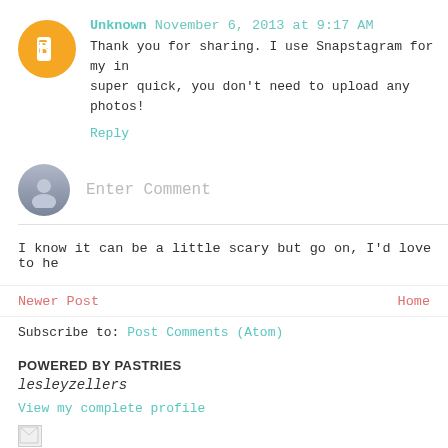Unknown November 6, 2013 at 9:17 AM
Thank you for sharing. I use Snapstagram for my in super quick, you don't need to upload any photos!
Reply
[Figure (other): Enter Comment input field with gray avatar icon]
I know it can be a little scary but go on, I'd love to he
Newer Post
Home
Subscribe to: Post Comments (Atom)
POWERED BY PASTRIES
lesleyzellers
View my complete profile
[Figure (other): Broken image placeholder icon]